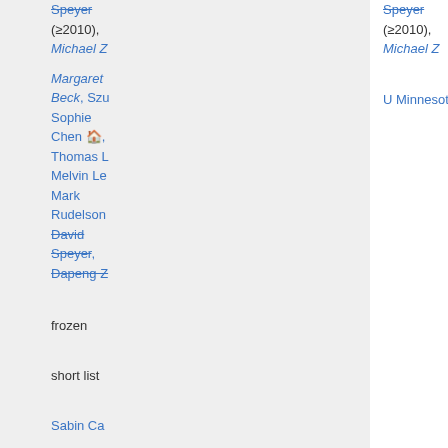| Institution | Area | Deadline | Notes |
| --- | --- | --- | --- |
|  |  | (≥2010), | Michael Z |
| U Minnesota* | all math (3) | Dec 1 | Margaret Beck, Szu Sophie Chen, Thomas L Melvin Le Mark Rudelson David Speyer, Dapeng Z |
| U Mississippi | all math | Nov 7 |  |
| U Nebraska* | analysis | Dec 5 | frozen |
| U Nebraska* | biomath | Dec 5 |  |
| U New Mexico | applied | Jan 7 | short list |
| U New Mexico | stat | Jan 1 |  |
| U North Carolina, Chapel Hill* | geom, algebra | Dec 1 | Sabin Ca |